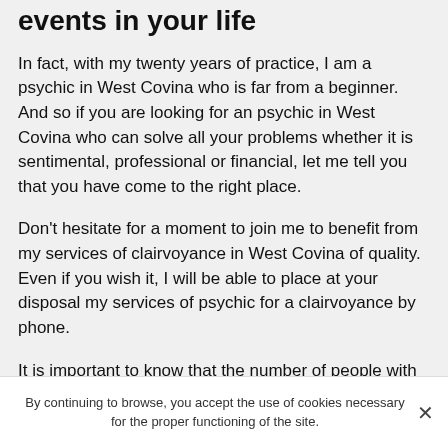events in your life
In fact, with my twenty years of practice, I am a psychic in West Covina who is far from a beginner. And so if you are looking for an psychic in West Covina who can solve all your problems whether it is sentimental, professional or financial, let me tell you that you have come to the right place.
Don't hesitate for a moment to join me to benefit from my services of clairvoyance in West Covina of quality. Even if you wish it, I will be able to place at your disposal my services of psychic for a clairvoyance by phone.
It is important to know that the number of people with real clairvoyance is quite limited and if you have to search for serious and honest clairvoyants, you should not be
By continuing to browse, you accept the use of cookies necessary for the proper functioning of the site.